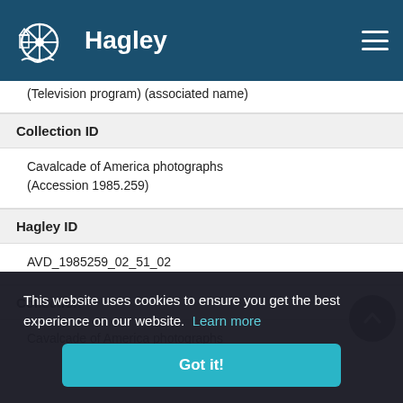Hagley
(Television program) (associated name)
Collection ID
Cavalcade of America photographs (Accession 1985.259)
Hagley ID
AVD_1985259_02_51_02
Collection
Cavalcade of America photographs
This website uses cookies to ensure you get the best experience on our website.  Learn more
Got it!